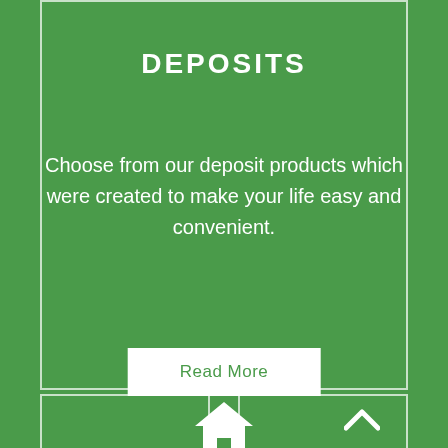DEPOSITS
Choose from our deposit products which were created to make your life easy and convenient.
Read More
[Figure (illustration): White house/home icon on green background]
[Figure (illustration): White upward chevron/caret icon on green background]